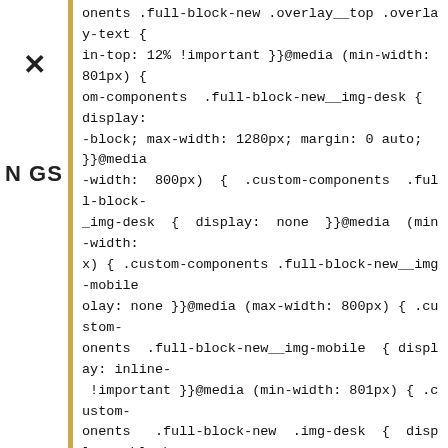onents .full-block-new .overlay__top .overlay-text { in-top: 12% !important }}@media (min-width: 801px) { om-components .full-block-new__img-desk { display: -block; max-width: 1280px; margin: 0 auto; }}@media -width: 800px) { .custom-components .full-block-_img-desk { display: none }}@media (min-width: x) { .custom-components .full-block-new__img-mobile olay: none }}@media (max-width: 800px) { .custom-onents .full-block-new__img-mobile { display: inline- !important }}@media (min-width: 801px) { .custom-onents .full-block-new .img-desk { display: block edia (max-width: 800px) { .custom-components .full--new .img-desk { display: none }}@media (min-width: x) { .custom-components .full-block-new .img-mobile { y: none }}@media (max-width: 800px) { .custom-onents .full-block-new .img-mobile { display: inline- } .custom-components .full-block-new .img-e.gift-guide { display: none }}@media (max-width: x) { .custom-components .full-block-new .img-